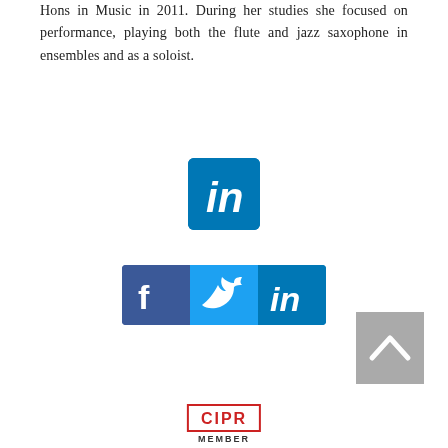Hons in Music in 2011. During her studies she focused on performance, playing both the flute and jazz saxophone in ensembles and as a soloist.
[Figure (logo): LinkedIn share button - large blue square with white italic 'in' text]
[Figure (logo): Row of three social media icons: Facebook (blue with f), Twitter (light blue with bird), LinkedIn (blue with in)]
[Figure (other): Grey back-to-top button with white upward chevron arrow]
[Figure (logo): CIPR MEMBER badge - red bordered box with CIPR text and MEMBER below]